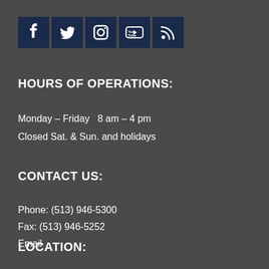[Figure (other): Row of 5 social media icons: Facebook, Twitter, Instagram, YouTube, RSS feed — each in a dark navy blue square]
HOURS OF OPERATIONS:
Monday – Friday   8 am – 4 pm
Closed Sat. & Sun. and holidays
CONTACT US:
Phone: (513) 946-5300
Fax: (513) 946-5252
Email
LOCATION: